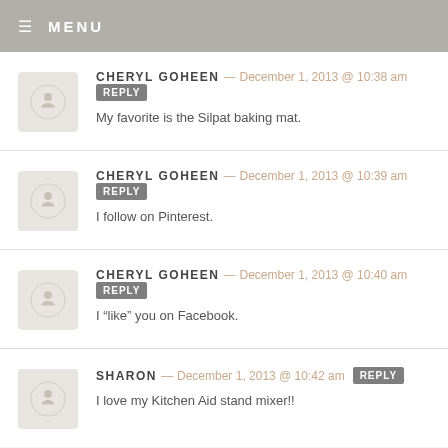MENU
CHERYL GOHEEN — December 1, 2013 @ 10:38 am REPLY
My favorite is the Silpat baking mat.
CHERYL GOHEEN — December 1, 2013 @ 10:39 am REPLY
I follow on Pinterest.
CHERYL GOHEEN — December 1, 2013 @ 10:40 am REPLY
I “like” you on Facebook.
SHARON — December 1, 2013 @ 10:42 am REPLY
I love my Kitchen Aid stand mixer!!